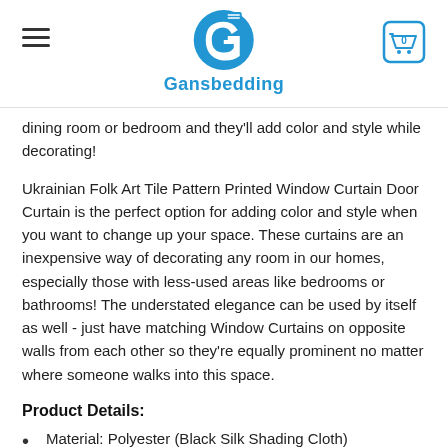Gansbedding
dining room or bedroom and they'll add color and style while decorating!
Ukrainian Folk Art Tile Pattern Printed Window Curtain Door Curtain is the perfect option for adding color and style when you want to change up your space. These curtains are an inexpensive way of decorating any room in our homes, especially those with less-used areas like bedrooms or bathrooms! The understated elegance can be used by itself as well - just have matching Window Curtains on opposite walls from each other so they're equally prominent no matter where someone walks into this space.
Product Details:
Material: Polyester (Black Silk Shading Cloth)
Sold per pair, include two curtain panels.